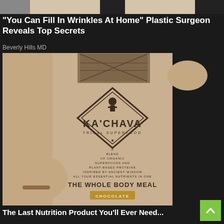[Figure (photo): Partial image at top of page, cropped person in light clothing]
"You Can Fill In Wrinkles At Home" Plastic Surgeon Reveals Top Secrets
Beverly Hills MD
[Figure (photo): Person holding a Ka'Chava Tribal Superfood bag (Chocolate flavor) - The Whole Body Meal. A blend of organic superfoods and plant-based proteins inspired by ancient wisdom, all your essential nutrients in one.]
The Last Nutrition Product You'll Ever Need...